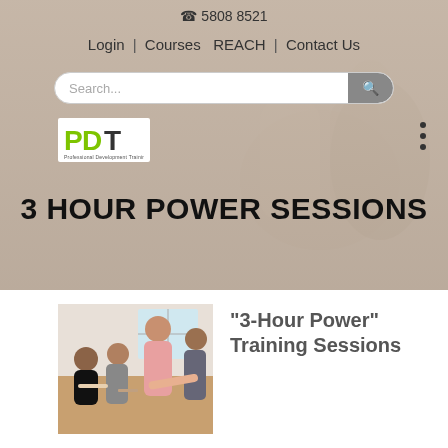☎ 5808 8521
Login | Courses  REACH | Contact Us
[Figure (screenshot): Search bar with placeholder text 'Search...' and search button]
[Figure (logo): PDT Professional Development Training logo]
3 HOUR POWER SESSIONS
[Figure (photo): Group of people around a table in a training session]
"3-Hour Power" Training Sessions